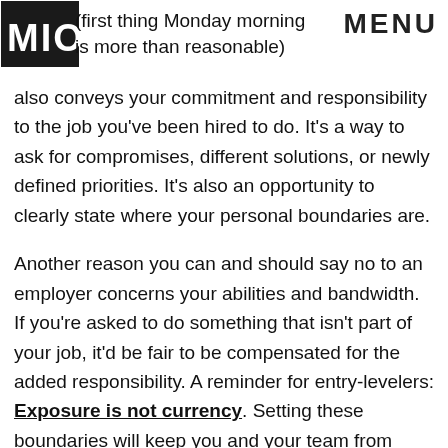MIO | MENU
(first thing Monday morning is more than reasonable) also conveys your commitment and responsibility to the job you've been hired to do. It's a way to ask for compromises, different solutions, or newly defined priorities. It's also an opportunity to clearly state where your personal boundaries are.

Another reason you can and should say no to an employer concerns your abilities and bandwidth. If you're asked to do something that isn't part of your job, it'd be fair to be compensated for the added responsibility. A reminder for entry-levelers: Exposure is not currency. Setting these boundaries will keep you and your team from unwanted despair in the long run.